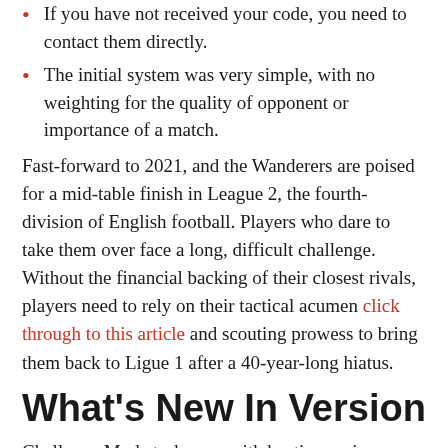If you have not received your code, you need to contact them directly.
The initial system was very simple, with no weighting for the quality of opponent or importance of a match.
Fast-forward to 2021, and the Wanderers are poised for a mid-table finish in League 2, the fourth-division of English football. Players who dare to take them over face a long, difficult challenge. Without the financial backing of their closest rivals, players need to rely on their tactical acumen click through to this article and scouting prowess to bring them back to Ligue 1 after a 40-year-long hiatus.
What's New In Version
Challenge Mode tasks you with beating various ready-made trials and scenarios. Aim to finish the season unbeaten, see off an injury crisis or